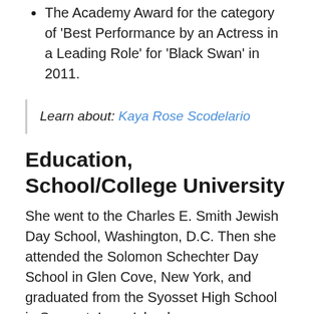The Academy Award for the category of 'Best Performance by an Actress in a Leading Role' for 'Black Swan' in 2011.
Learn about: Kaya Rose Scodelario
Education, School/College University
She went to the Charles E. Smith Jewish Day School, Washington, D.C. Then she attended the Solomon Schechter Day School in Glen Cove, New York, and graduated from the Syosset High School in Syosset, Long Island